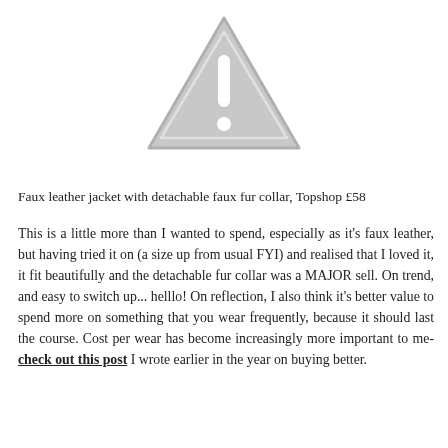[Figure (illustration): A grey warning triangle icon with an exclamation mark inside, centered at the top of the page.]
Faux leather jacket with detachable faux fur collar, Topshop £58
This is a little more than I wanted to spend, especially as it's faux leather, but having tried it on (a size up from usual FYI) and realised that I loved it, it fit beautifully and the detachable fur collar was a MAJOR sell. On trend, and easy to switch up... helllo! On reflection, I also think it's better value to spend more on something that you wear frequently, because it should last the course. Cost per wear has become increasingly more important to me- check out this post I wrote earlier in the year on buying better.